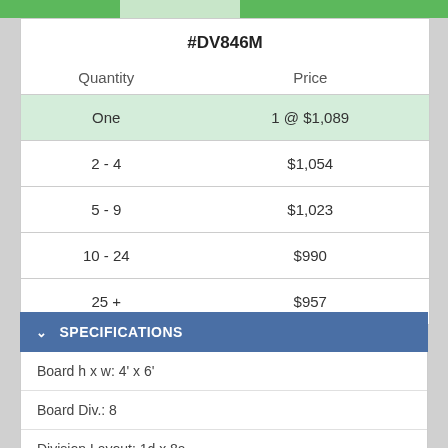| Quantity | Price |
| --- | --- |
| One | 1 @ $1,089 |
| 2 - 4 | $1,054 |
| 5 - 9 | $1,023 |
| 10 - 24 | $990 |
| 25 + | $957 |
SPECIFICATIONS
Board h x w: 4' x 6'
Board Div.: 8
Division Layout: 1d x 8a
Division h x w: 44" x 8"
Board Option: BoldLyne Frame